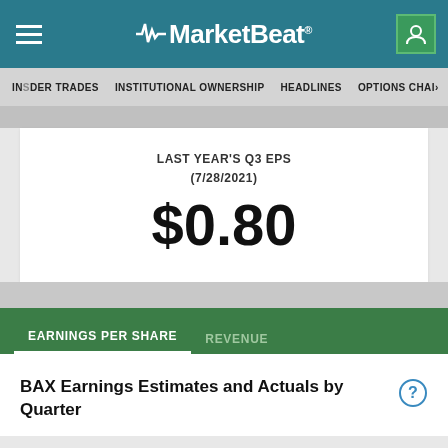MarketBeat
INSIDER TRADES  INSTITUTIONAL OWNERSHIP  HEADLINES  OPTIONS CHAIN
LAST YEAR'S Q3 EPS (7/28/2021)
$0.80
EARNINGS PER SHARE  REVENUE
BAX Earnings Estimates and Actuals by Quarter